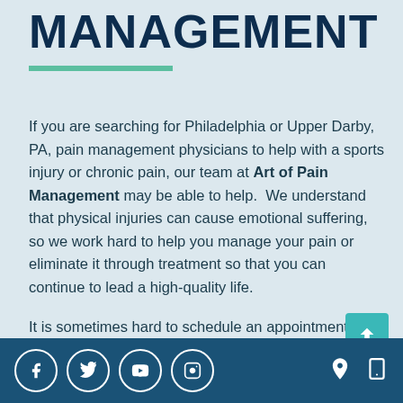MANAGEMENT
If you are searching for Philadelphia or Upper Darby, PA, pain management physicians to help with a sports injury or chronic pain, our team at Art of Pain Management may be able to help. We understand that physical injuries can cause emotional suffering, so we work hard to help you manage your pain or eliminate it through treatment so that you can continue to lead a high-quality life.
It is sometimes hard to schedule an appointment with a pain management physician that works with your schedule, so we aim to provide flexible scheduling and
Social media icons: Facebook, Twitter, YouTube, Instagram, Location, Mobile